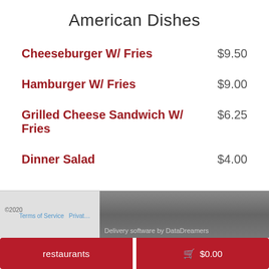American Dishes
Cheeseburger W/ Fries    $9.50
Hamburger W/ Fries    $9.00
Grilled Cheese Sandwich W/ Fries    $6.25
Dinner Salad    $4.00
[Figure (screenshot): Screenshot showing a webpage footer with copyright text, Terms of Service and Privacy links (partially obscured), and 'Delivery software by DataDreamers' text overlaid on a photo of food/restaurant scene.]
restaurants   🛒 $0.00